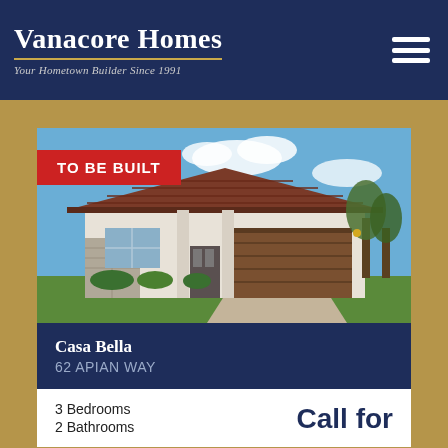Vanacore Homes — Your Hometown Builder Since 1991
[Figure (photo): Exterior photo of a single-story Florida-style home with terra cotta tile roof, stucco exterior, stone accents, large two-car garage, paver driveway, and landscaped front yard under blue sky. A red banner overlay reads 'TO BE BUILT'.]
Casa Bella
62 APIAN WAY
3 Bedrooms
2 Bathrooms
Call for